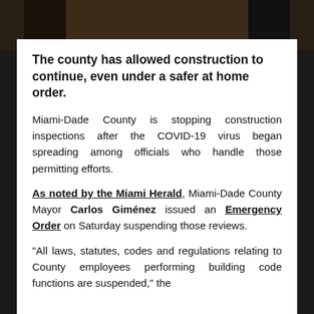[Figure (photo): Dark photo strip at the top of the page, showing a blurred indoor scene with dark wood tones]
The county has allowed construction to continue, even under a safer at home order.
Miami-Dade County is stopping construction inspections after the COVID-19 virus began spreading among officials who handle those permitting efforts.
As noted by the Miami Herald, Miami-Dade County Mayor Carlos Giménez issued an Emergency Order on Saturday suspending those reviews.
“All laws, statutes, codes and regulations relating to County employees performing building code functions are suspended,” the